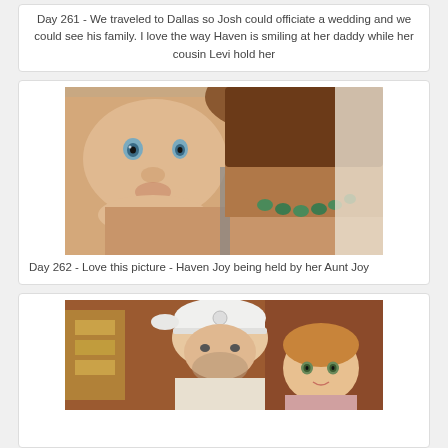Day 261 - We traveled to Dallas so Josh could officiate a wedding and we could see his family.  I love the way Haven is smiling at her daddy while her cousin Levi hold her
[Figure (photo): Close-up photo of a baby with blue eyes resting its chin on the shoulder of a woman wearing a gray tank top and green bead necklace, viewed from behind.]
Day 262 - Love this picture - Haven Joy being held by her Aunt Joy
[Figure (photo): Photo of an older man wearing a white baseball cap sitting with a young toddler girl in a restaurant setting with warm brown tones.]